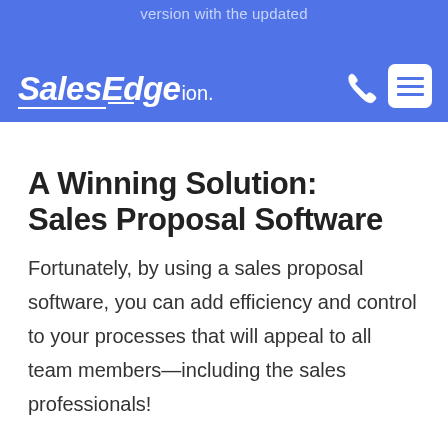version with the updated
[Figure (logo): SalesEdge logo with italic bold white text on blue header bar, with phone and hamburger menu icons on the right]
A Winning Solution: Sales Proposal Software
Fortunately, by using a sales proposal software, you can add efficiency and control to your processes that will appeal to all team members—including the sales professionals!
A winning sales proposal software